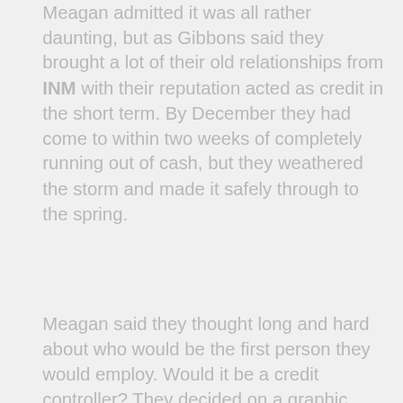Meagan admitted it was all rather daunting, but as Gibbons said they brought a lot of their old relationships from INM with their reputation acted as credit in the short term. By December they had come to within two weeks of completely running out of cash, but they weathered the storm and made it safely through to the spring.
Meagan said they thought long and hard about who would be the first person they would employ. Would it be a credit controller? They decided on a graphic designer and that put down a marker on the future of the business. At the tail end of 1994, the wind dropped out of their sails as there were regulatory changes which impacted on drugs budgets.
"We had been booming all through 1992 and 1993," Gibbons said, "then suddenly were were facing into 1994 with an order book down 40 per cent. There was a huge reflex cut back in
We use cookies to ensure that we give you the best experience on our website. If you continue to use this site we will assume that you are happy with it.